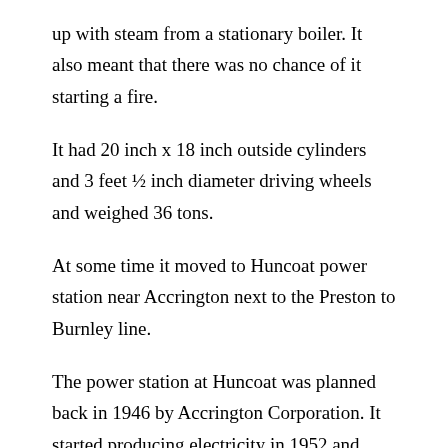up with steam from a stationary boiler. It also meant that there was no chance of it starting a fire.
It had 20 inch x 18 inch outside cylinders and 3 feet ½ inch diameter driving wheels and weighed 36 tons.
At some time it moved to Huncoat power station near Accrington next to the Preston to Burnley line.
The power station at Huncoat was planned back in 1946 by Accrington Corporation. It started producing electricity in 1952 and operated until 1984. Following nationalisation of the electricity industry from April 1948 ownership of the power station was vested in the British Electricity Authority (BEA) which completed the construction of the power station. Following